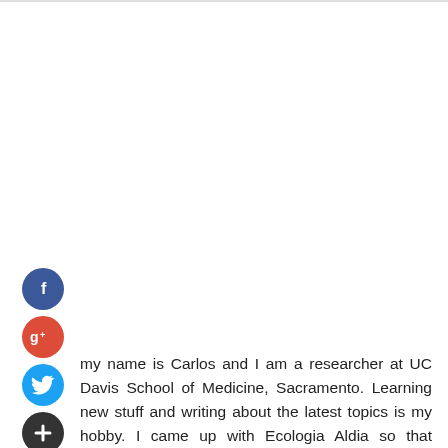[Figure (infographic): Four social media icon circles stacked vertically on the left: Facebook (blue, 'f'), Google+ (red, 'g+'), Twitter (light blue, bird icon), and a dark plus circle. Positioned along the left side of the page.]
my name is Carlos and I am a researcher at UC Davis School of Medicine, Sacramento. Learning new stuff and writing about the latest topics is my hobby. I came up with Ecologia Aldia so that knowledge can be shared without any limitations. Stay in touch for more